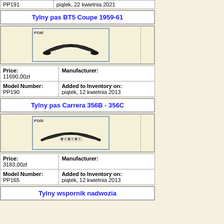|  |  |
| --- | --- |
| PP191 | piątek, 22 kwietnia 2021 |
Tylny pas BT5 Coupe 1959-61
[Figure (photo): Product image of rear bumper P190 for BT5 Coupe 1959-61]
| Price:
11690,00zł | Manufacturer: |
| Model Number:
PP190 | Added to Inventory on:
piątek, 12 kwietnia 2013 |
Tylny pas Carrera 356B - 356C
[Figure (photo): Product image of rear bumper P165 for Carrera 356B-356C]
| Price:
3183,00zł | Manufacturer: |
| Model Number:
PP165 | Added to Inventory on:
piątek, 12 kwietnia 2013 |
Tylny wspornik nadwozia